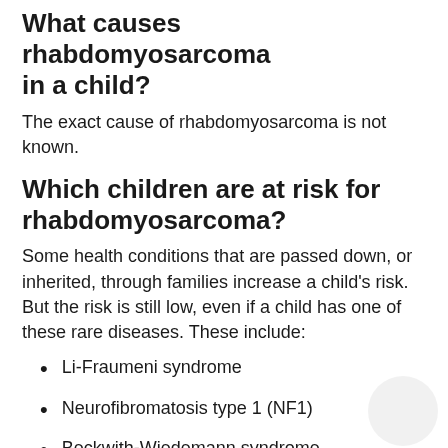What causes rhabdomyosarcoma in a child?
The exact cause of rhabdomyosarcoma is not known.
Which children are at risk for rhabdomyosarcoma?
Some health conditions that are passed down, or inherited, through families increase a child's risk. But the risk is still low, even if a child has one of these rare diseases. These include:
Li-Fraumeni syndrome
Neurofibromatosis type 1 (NF1)
Beckwith-Wiedemann syndrome
Costello syndrome
Dicer1 syndrome